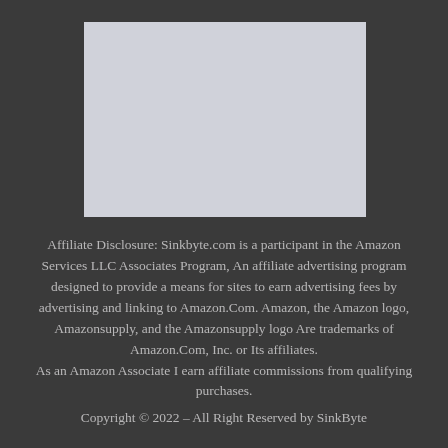[Figure (other): A light gray rectangular placeholder image at the top center of the page.]
Affiliate Disclosure: Sinkbyte.com is a participant in the Amazon Services LLC Associates Program, An affiliate advertising program designed to provide a means for sites to earn advertising fees by advertising and linking to Amazon.Com. Amazon, the Amazon logo, Amazonsupply, and the Amazonsupply logo Are trademarks of Amazon.Com, Inc. or Its affiliates. As an Amazon Associate I earn affiliate commissions from qualifying purchases.
Copyright © 2022 – All Right Reserved by SinkByte